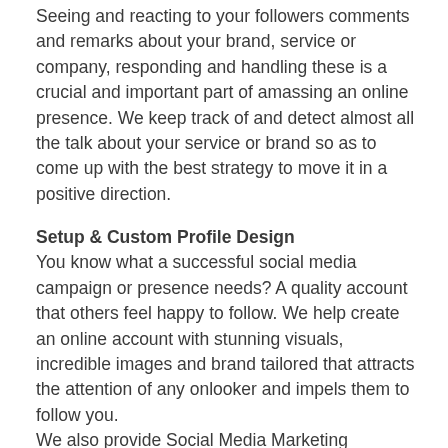Seeing and reacting to your followers comments and remarks about your brand, service or company, responding and handling these is a crucial and important part of amassing an online presence. We keep track of and detect almost all the talk about your service or brand so as to come up with the best strategy to move it in a positive direction.
Setup & Custom Profile Design
You know what a successful social media campaign or presence needs? A quality account that others feel happy to follow. We help create an online account with stunning visuals, incredible images and brand tailored that attracts the attention of any onlooker and impels them to follow you.
We also provide Social Media Marketing guidance for those who wish to build their presence themselves. To know more about our services contact us or email us.